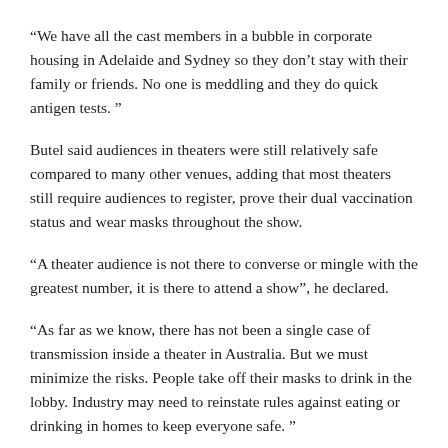“We have all the cast members in a bubble in corporate housing in Adelaide and Sydney so they don’t stay with their family or friends. No one is meddling and they do quick antigen tests. ”
Butel said audiences in theaters were still relatively safe compared to many other venues, adding that most theaters still require audiences to register, prove their dual vaccination status and wear masks throughout the show.
“A theater audience is not there to converse or mingle with the greatest number, it is there to attend a show”, he declared.
“As far as we know, there has not been a single case of transmission inside a theater in Australia. But we must minimize the risks. People take off their masks to drink in the lobby. Industry may need to reinstate rules against eating or drinking in homes to keep everyone safe. ”